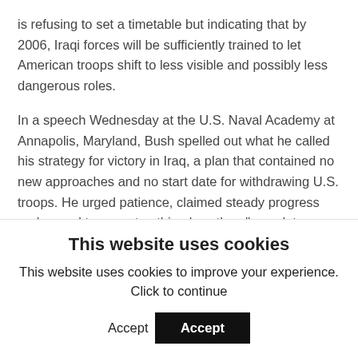is refusing to set a timetable but indicating that by 2006, Iraqi forces will be sufficiently trained to let American troops shift to less visible and possibly less dangerous roles.
In a speech Wednesday at the U.S. Naval Academy at Annapolis, Maryland, Bush spelled out what he called his strategy for victory in Iraq, a plan that contained no new approaches and no start date for withdrawing U.S. troops. He urged patience, claimed steady progress and vowed to accept nothing less than &#34complete victory.&#34
Democrats were quick to criticize, accusing Bush of failing to answer squarely the most pressing questions
This website uses cookies
This website uses cookies to improve your experience. Click to continue